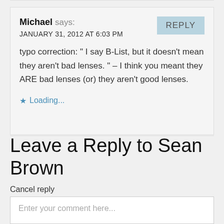Michael says: JANUARY 31, 2012 AT 6:03 PM
typo correction: " I say B-List, but it doesn't mean they aren't bad lenses. " – I think you meant they ARE bad lenses (or) they aren't good lenses.
Loading...
Leave a Reply to Sean Brown
Cancel reply
Enter your comment here...